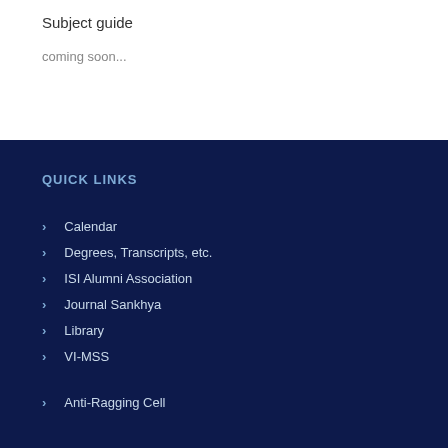Subject guide
coming soon...
QUICK LINKS
Calendar
Degrees, Transcripts, etc.
ISI Alumni Association
Journal Sankhya
Library
VI-MSS
Anti-Ragging Cell